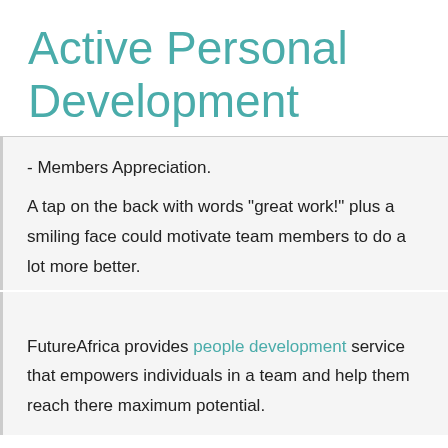Active Personal Development
- Members Appreciation.
A tap on the back with words "great work!" plus a smiling face could motivate team members to do a lot more better.
FutureAfrica provides people development service that empowers individuals in a team and help them reach there maximum potential.